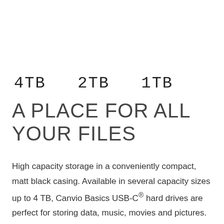4TB  2TB  1TB
A PLACE FOR ALL YOUR FILES
High capacity storage in a conveniently compact, matt black casing. Available in several capacity sizes up to 4 TB, Canvio Basics USB-C® hard drives are perfect for storing data, music, movies and pictures. These devices are USB-powered and can be used with a single USB-C®